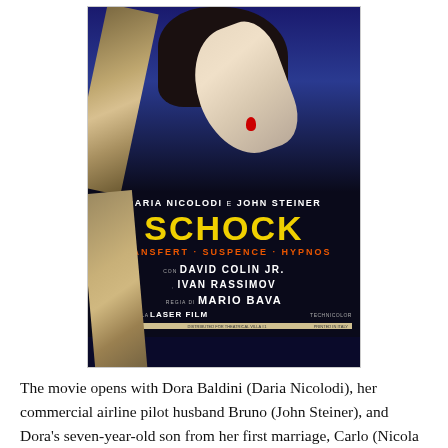[Figure (illustration): Movie poster for 'Schock' (Transfert·Suspence·Hypnos) directed by Mario Bava. Shows a dark horror film poster with a figure clinging to wooden planks against a dark blue background. Text includes: DARIA NICOLODI e JOHN STEINER, SCHOCK, TRANSFERT·SUSPENCE·HYPNOS, con DAVID COLIN Jr., IVAN RASSIMOV, Regia di MARIO BAVA, Prodotto dalla LASER FILM, TECHNICOLOR.]
The movie opens with Dora Baldini (Daria Nicolodi), her commercial airline pilot husband Bruno (John Steiner), and Dora's seven-year-old son from her first marriage, Carlo (Nicola Salerno), moving into her former home, the house she shared with Carlo's father, an abusive heroin addict that apparently committed suicide while at sea.